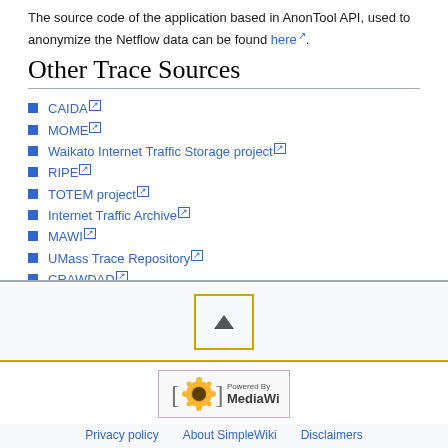The source code of the application based in AnonTool API, used to anonymize the Netflow data can be found here.
Other Trace Sources
CAIDA
MOME
Waikato Internet Traffic Storage project
RIPE
TOTEM project
Internet Traffic Archive
MAWI
UMass Trace Repository
CRAWDAD
PREDICT
[Figure (other): Scroll to top button with upward triangle arrow inside a bordered box]
[Figure (logo): Powered by MediaWiki logo badge]
Privacy policy   About SimpleWiki   Disclaimers